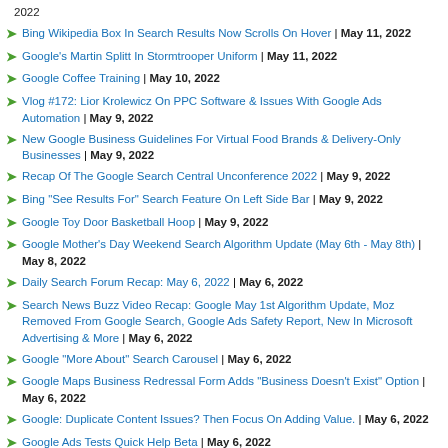2022
Bing Wikipedia Box In Search Results Now Scrolls On Hover | May 11, 2022
Google's Martin Splitt In Stormtrooper Uniform | May 11, 2022
Google Coffee Training | May 10, 2022
Vlog #172: Lior Krolewicz On PPC Software & Issues With Google Ads Automation | May 9, 2022
New Google Business Guidelines For Virtual Food Brands & Delivery-Only Businesses | May 9, 2022
Recap Of The Google Search Central Unconference 2022 | May 9, 2022
Bing "See Results For" Search Feature On Left Side Bar | May 9, 2022
Google Toy Door Basketball Hoop | May 9, 2022
Google Mother's Day Weekend Search Algorithm Update (May 6th - May 8th) | May 8, 2022
Daily Search Forum Recap: May 6, 2022 | May 6, 2022
Search News Buzz Video Recap: Google May 1st Algorithm Update, Moz Removed From Google Search, Google Ads Safety Report, New In Microsoft Advertising & More | May 6, 2022
Google "More About" Search Carousel | May 6, 2022
Google Maps Business Redressal Form Adds "Business Doesn't Exist" Option | May 6, 2022
Google: Duplicate Content Issues? Then Focus On Adding Value. | May 6, 2022
Google Ads Tests Quick Help Beta | May 6, 2022